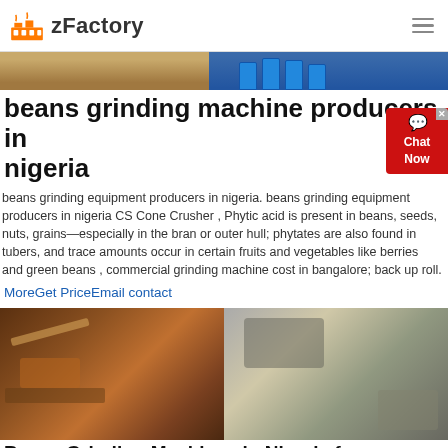zFactory
[Figure (photo): Two side-by-side images at top: sandy/earth terrain on left, blue industrial barrels/equipment on right]
beans grinding machine producers in nigeria
beans grinding equipment producers in nigeria. beans grinding equipment producers in nigeria CS Cone Crusher , Phytic acid is present in beans, seeds, nuts, grains—especially in the bran or outer hull; phytates are also found in tubers, and trace amounts occur in certain fruits and vegetables like berries and green beans , commercial grinding machine cost in bangalore; back up roll.
MoreGet PriceEmail contact
[Figure (photo): Two side-by-side industrial/mining site photos at bottom: heavy machinery conveyor on left, excavated rocky terrain with structure on right]
Beans Grinding Machines in Nigeria for